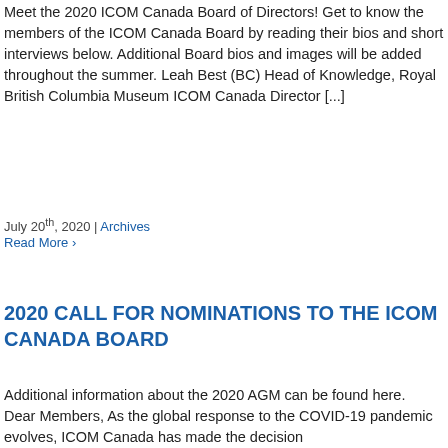Meet the 2020 ICOM Canada Board of Directors! Get to know the members of the ICOM Canada Board by reading their bios and short interviews below. Additional Board bios and images will be added throughout the summer. Leah Best (BC) Head of Knowledge, Royal British Columbia Museum ICOM Canada Director [...]
July 20th, 2020 | Archives
Read More ›
2020 CALL FOR NOMINATIONS TO THE ICOM CANADA BOARD
Additional information about the 2020 AGM can be found here.   Dear Members, As the global response to the COVID-19 pandemic evolves, ICOM Canada has made the decision...